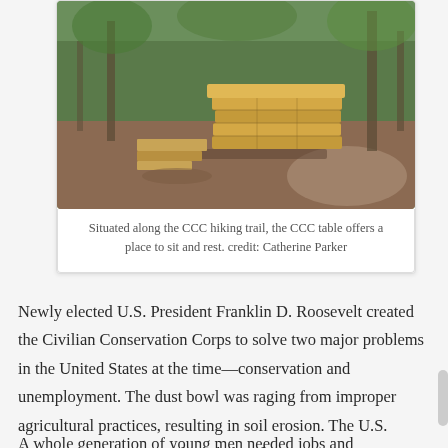[Figure (photo): A stone table or structure made of stacked sandstone/limestone blocks situated along a forest hiking trail. Trees and foliage visible in background.]
Situated along the CCC hiking trail, the CCC table offers a place to sit and rest. credit: Catherine Parker
Newly elected U.S. President Franklin D. Roosevelt created the Civilian Conservation Corps to solve two major problems in the United States at the time—conservation and unemployment. The dust bowl was raging from improper agricultural practices, resulting in soil erosion. The U.S. forests were over-cut and needed replanting.
A whole generation of young men needed jobs and